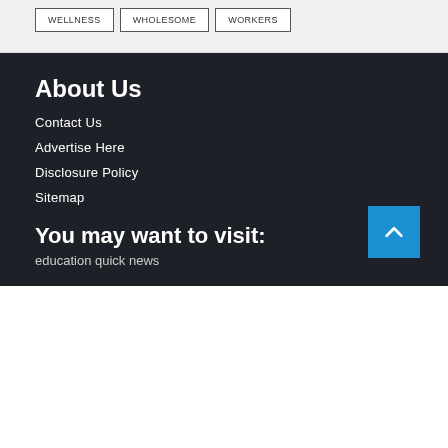WELLNESS
WHOLESOME
WORKERS
About Us
Contact Us
Advertise Here
Disclosure Policy
Sitemap
You may want to visit:
education quick news